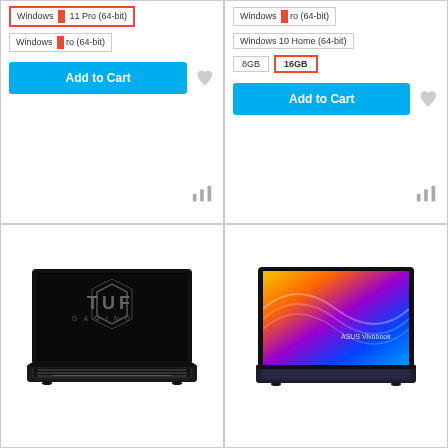[Figure (screenshot): Top-left product card showing Windows OS selector with orange-bordered 'Windows 11 Pro (64-bit)' selected, a second OS option, Add to Cart blue button, heart icon, and bar chart icon]
[Figure (screenshot): Top-right product card showing Windows OS options, Windows 10 Home (64-bit), RAM options 8GB and 16GB (selected with orange border), Add to Cart blue button, heart icon, and bar chart icon]
[Figure (photo): Bottom-left product card showing ASUS TUF Gaming laptop with dark design and glowing keyboard, open and facing viewer]
[Figure (photo): Bottom-right product card showing ASUS Vivobook laptop with colorful screen displaying abstract gradient design, open and facing viewer]